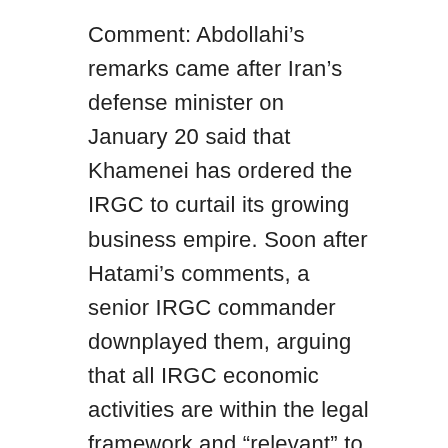Comment: Abdollahi's remarks came after Iran's defense minister on January 20 said that Khamenei has ordered the IRGC to curtail its growing business empire. Soon after Hatami's comments, a senior IRGC commander downplayed them, arguing that all IRGC economic activities are within the legal framework and “relevant” to their mission. “Sepah [IRGC] has never embarked on economic activity and most of its [economic] activities have been through construction work in accordance with the constitution. According to the law, the armed forces in peacetime need to help the government. Based on this, since the end of the [1980s Iran-Iraq] war, Sepah has executed construction work that other companies were